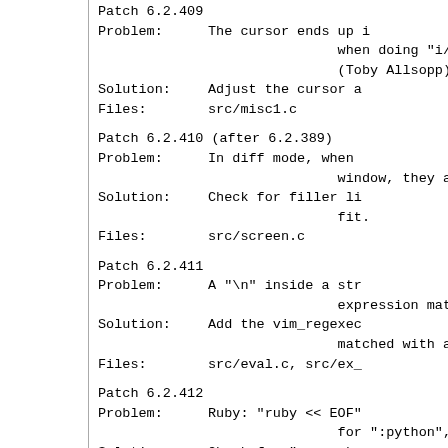Patch 6.2.409
Problem: The cursor ends up in the wrong place when doing "i//<Esc>..."
(Toby Allsopp)
Solution: Adjust the cursor as...
Files: src/misc1.c
Patch 6.2.410 (after 6.2.389)
Problem: In diff mode, when the filler lines don't fit in the window, they are not...
Solution: Check for filler lines that don't fit.
Files: src/screen.c
Patch 6.2.411
Problem: A "\n" inside a string used for expression matching...
Solution: Add the vim_regexec... matched with a line...
Files: src/eval.c, src/ex_...
Patch 6.2.412
Problem: Ruby: "ruby << EOF" ... for ":python", ":tc...
Solution: Check for "<< marker" ... "endfunction".
Files: src/eval.c